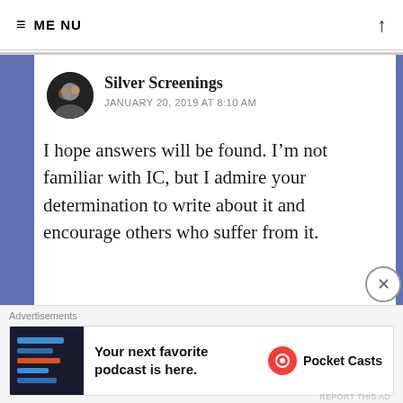≡ MENU
Silver Screenings
JANUARY 20, 2019 AT 8:10 AM
I hope answers will be found. I'm not familiar with IC, but I admire your determination to write about it and encourage others who suffer from it.
Also: A very belated Happy New Year to you! 🙂
Advertisements
Your next favorite podcast is here.
Pocket Casts